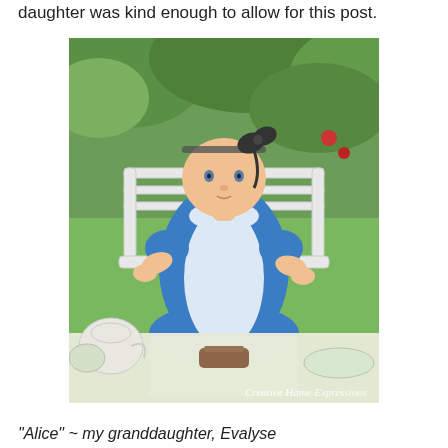daughter was kind enough to allow for this post.
[Figure (photo): A baby dressed in an Alice in Wonderland costume (blue dress with white apron and black bow headband) sitting in a white garden chair at a tea party table outdoors, surrounded by greenery. Watermark reads 'Creative Home Expressions'.]
"Alice" ~ my granddaughter, Evalyse